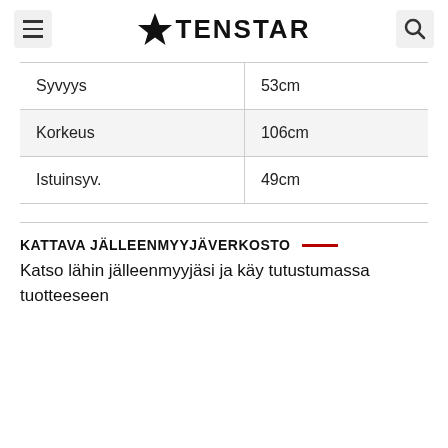TENSTAR
| Syvyys | 53cm |
| Korkeus | 106cm |
| Istuinsyv. | 49cm |
KATTAVA JÄLLEENMYYJÄVERKOSTO
Katso lähin jälleenmyyjäsi ja käy tutustumassa tuotteeseen